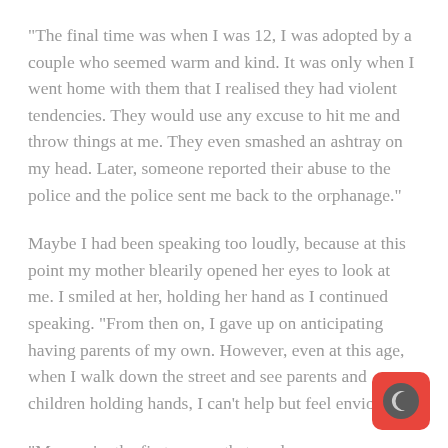“The final time was when I was 12, I was adopted by a couple who seemed warm and kind. It was only when I went home with them that I realised they had violent tendencies. They would use any excuse to hit me and throw things at me. They even smashed an ashtray on my head. Later, someone reported their abuse to the police and the police sent me back to the orphanage.”
Maybe I had been speaking too loudly, because at this point my mother blearily opened her eyes to look at me. I smiled at her, holding her hand as I continued speaking. “From then on, I gave up on anticipating having parents of my own. However, even at this age, when I walk down the street and see parents and children holding hands, I can’t help but feel envious.”
“Ma, you’re the first person that made me see my own… You made me realize that if I died, there would still be someone who would grieve and be sad over me… you let me
[Figure (logo): Red rounded square app icon with a crescent moon symbol in dark gray]